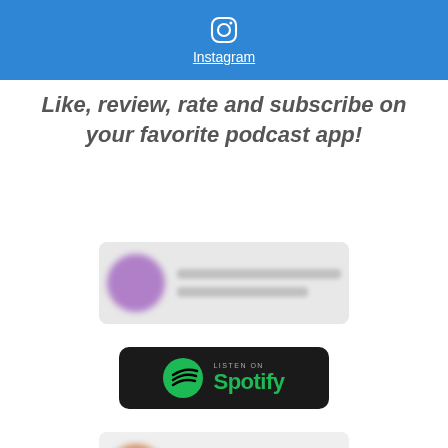[Figure (logo): Instagram icon and link on blue background bar]
Like, review, rate and subscribe on your favorite podcast app!
[Figure (screenshot): Blurred podcast app badge with purple circle icon]
[Figure (logo): Listen on Spotify badge with green Spotify logo on black background]
[Figure (screenshot): Blurred podcast app badge with orange circle icon]
[Figure (screenshot): Partially visible blurred podcast app badge with yellow/orange circle icon]